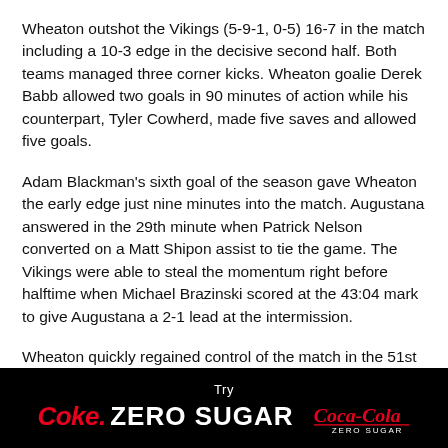Wheaton outshot the Vikings (5-9-1, 0-5) 16-7 in the match including a 10-3 edge in the decisive second half. Both teams managed three corner kicks. Wheaton goalie Derek Babb allowed two goals in 90 minutes of action while his counterpart, Tyler Cowherd, made five saves and allowed five goals.
Adam Blackman's sixth goal of the season gave Wheaton the early edge just nine minutes into the match. Augustana answered in the 29th minute when Patrick Nelson converted on a Matt Shipon assist to tie the game. The Vikings were able to steal the momentum right before halftime when Michael Brazinski scored at the 43:04 mark to give Augustana a 2-1 lead at the intermission.
Wheaton quickly regained control of the match in the 51st minute when Stephen Golz used a Noah Anthony assist to
[Figure (infographic): Coca-Cola Zero Sugar advertisement banner. Black background with 'Try' in white, 'Coke. ZERO SUGAR' in red and white bold text, and Coca-Cola Zero Sugar logo on the right.]